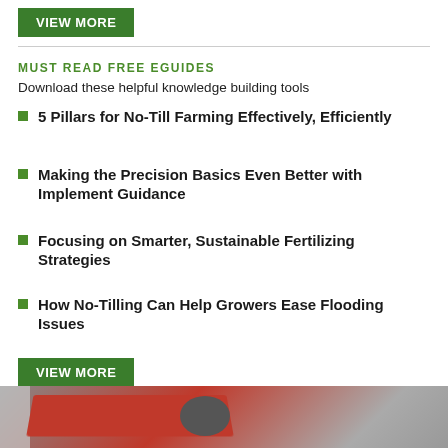VIEW MORE
MUST READ FREE EGUIDES
Download these helpful knowledge building tools
5 Pillars for No-Till Farming Effectively, Efficiently
Making the Precision Basics Even Better with Implement Guidance
Focusing on Smarter, Sustainable Fertilizing Strategies
How No-Tilling Can Help Growers Ease Flooding Issues
VIEW MORE
VIDEOS
[Figure (photo): Video thumbnail showing agricultural equipment with red machinery component]